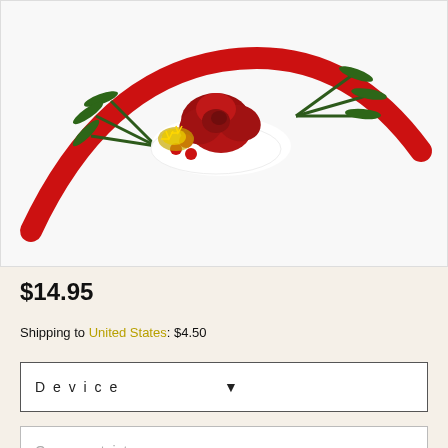[Figure (photo): A red floral Christmas headband decorated with dark red fabric roses, green pine/fir sprigs, white lace, red berries, and gold glitter accents, photographed on a white background.]
$14.95
Shipping to United States: $4.50
Device
Quantity